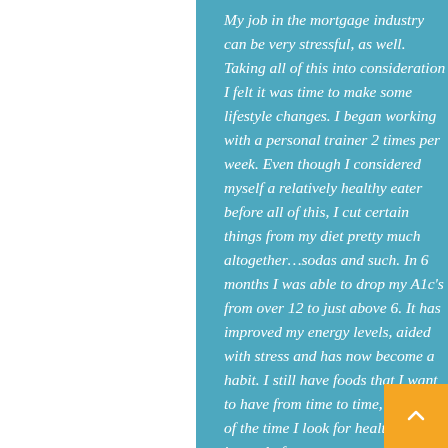My job in the mortgage industry can be very stressful, as well. Taking all of this into consideration I felt it was time to make some lifestyle changes. I began working with a personal trainer 2 times per week. Even though I considered myself a relatively healthy eater before all of this, I cut certain things from my diet pretty much altogether…sodas and such. In 6 months I was able to drop my A1c's from over 12 to just above 6. It has improved my energy levels, aided with stress and has now become a habit. I still have foods that I want to have from time to time, but 90% of the time I look for healthy options instead of a